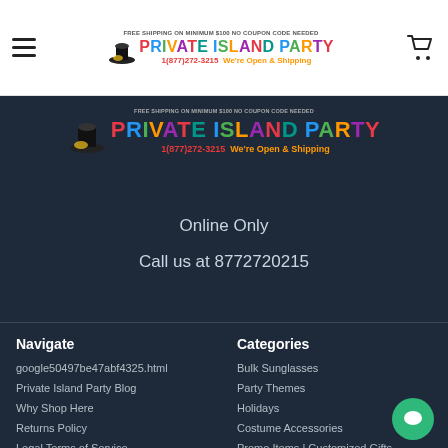FREE SHIPPING ON MINIMUM $100 NO COUPON CODE NEEDED | PRIVATE ISLAND PARTY | 1(877)272-3215 We're Open & Shipping
[Figure (logo): Private Island Party logo with top hat mascot, colorful brand name, phone number 1(877)272-3215 and We're Open & Shipping text, repeated on dark background]
Online Only
Call us at 8772720215
Navigate
google50497be47abf4325.html
Private Island Party Blog
Why Shop Here
Returns Policy
Legal Terms of Service
Categories
Bulk Sunglasses
Party Themes
Holidays
Costume Accessories
Promo Items | Customized Gifts